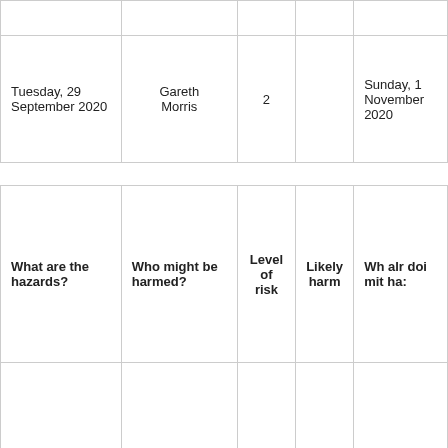|  |  |  |  |
| Tuesday, 29 September 2020 | Gareth Morris | 2 | Sunday, 1 November 2020 |
| What are the hazards? | Who might be harmed? | Level of risk | Likely harm | Wh alr doi mit ha: |
| --- | --- | --- | --- | --- |
|  |  |  |  | any |